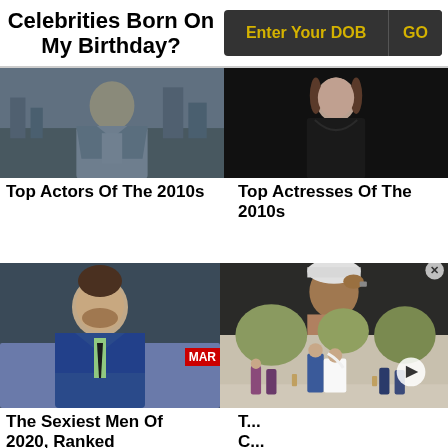Celebrities Born On My Birthday?
Enter Your DOB   GO
[Figure (photo): Man in gray jacket outdoors, city background]
Top Actors Of The 2010s
[Figure (photo): Woman in black top against dark background]
Top Actresses Of The 2010s
[Figure (photo): Man in blue suit at Marvel event with MAR badge visible]
The Sexiest Men Of 2020, Ranked
[Figure (photo): Composite: shirtless man with hat on top; wedding scene with couple kissing at ceremony at bottom]
T... C... B...